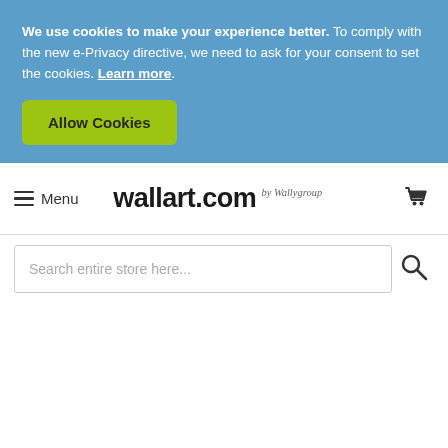We use cookies to make your experience better. To comply with the new e-Privacy directive, we need to ask for your consent to set the cookies. Learn more.
Allow Cookies
Menu | wallart.com by Wallygroup
Search entire store here...